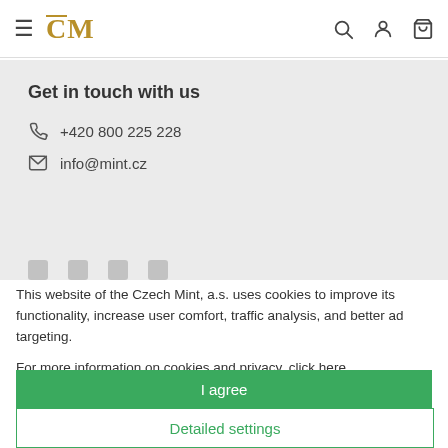Czech Mint website header with hamburger menu, logo, search, account, and cart icons
Get in touch with us
☎ +420 800 225 228
✉ info@mint.cz
This website of the Czech Mint, a.s. uses cookies to improve its functionality, increase user comfort, traffic analysis, and better ad targeting.
For more information on cookies and privacy, click here.
I agree
Detailed settings